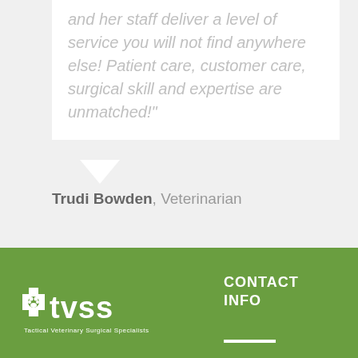and her staff deliver a level of service you will not find anywhere else! Patient care, customer care, surgical skill and expertise are unmatched!"
Trudi Bowden, Veterinarian
[Figure (logo): TVSS logo - white cross with paw print and text 'tvss' with tagline 'Tactical Veterinary Surgical Specialists']
CONTACT INFO